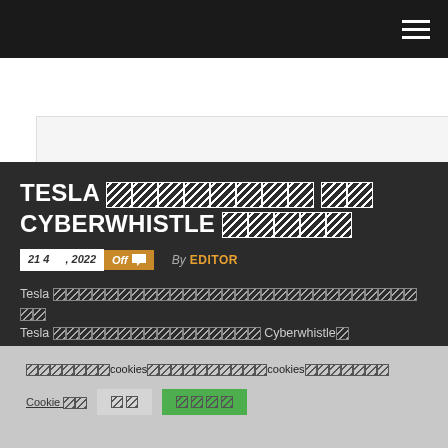Navigation bar with hamburger menu
[Figure (other): White banner/advertisement area]
TESLA [CJK chars] Cyberwhistle [CJK chars]
21 4 月, 2022  Off  By EDITOR
Tesla [CJK body text] Tesla [CJK body text] Cyberwhistle。
[CJK cookie notice text] cookies [CJK text] cookies [CJK text] [link text]
Cookie 設定  拒絕  接受並繼續